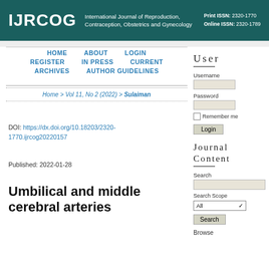IJRCOG | International Journal of Reproduction, Contraception, Obstetrics and Gynecology | Print ISSN: 2320-1770 | Online ISSN: 2320-1789
HOME | ABOUT | LOGIN | REGISTER | IN PRESS | CURRENT | ARCHIVES | AUTHOR GUIDELINES
Home > Vol 11, No 2 (2022) > Sulaiman
DOI: https://dx.doi.org/10.18203/2320-1770.ijrcog20220157
Published: 2022-01-28
Umbilical and middle cerebral arteries
User
Username
Password
Remember me
Login
Journal Content
Search
Search Scope
All
Search
Browse